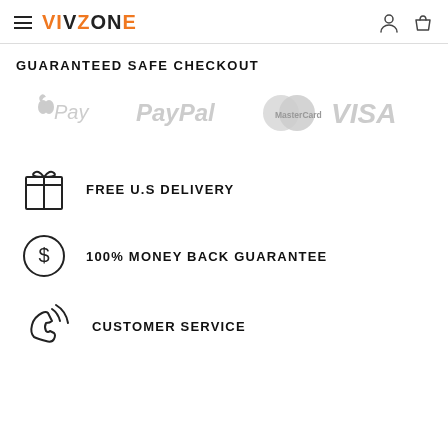VIVZONE
GUARANTEED SAFE CHECKOUT
[Figure (logo): Payment method logos: Apple Pay, PayPal, MasterCard, VISA in light gray]
FREE U.S DELIVERY
100% MONEY BACK GUARANTEE
CUSTOMER SERVICE